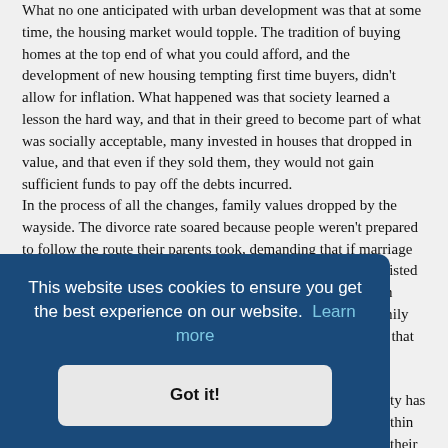What no one anticipated with urban development was that at some time, the housing market would topple. The tradition of buying homes at the top end of what you could afford, and the development of new housing tempting first time buyers, didn't allow for inflation. What happened was that society learned a lesson the hard way, and that in their greed to become part of what was socially acceptable, many invested in houses that dropped in value, and that even if they sold them, they would not gain sufficient funds to pay off the debts incurred.
In the process of all the changes, family values dropped by the wayside. The divorce rate soared because people weren't prepared to follow the route their parents took, demanding that if marriage didn't work out, there was always an alternative that never existed in normal society before. Divorce options were costly, though people would take legal aid to get those divorces, and the family unit over the next twenty years deteriorated to such an extent that in school classrooms, in a class of 30 children, over
...ty has ...thin their ...est of ...make ...ore than ...hed items that make them look good, although not seeing past the superficial
[Figure (screenshot): Cookie consent overlay banner with dark blue background. Text reads: 'This website uses cookies to ensure you get the best experience on our website. Learn more' with a 'Got it!' button below.]